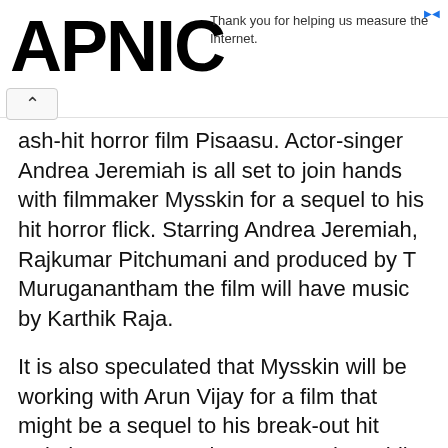APNIC — Thank you for helping us measure the Internet.
ash-hit horror film Pisaasu. Actor-singer Andrea Jeremiah is all set to join hands with filmmaker Mysskin for a sequel to his hit horror flick. Starring Andrea Jeremiah, Rajkumar Pitchumani and produced by T Muruganantham the film will have music by Karthik Raja.
It is also speculated that Mysskin will be working with Arun Vijay for a film that might be a sequel to his break-out hit Anjathey. Reports also suggest that while Simbu was the first hero to be approached, he couldn't allocate dates owning his current assignments. Thus, Mysskin had narrated